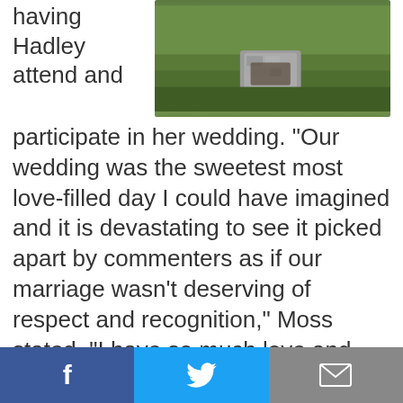having Hadley attend and participate in her wedding. "Our wedding was the sweetest most love-filled day I could have imagined and it is devastating to see it picked apart by commenters as if our marriage wasn't deserving of respect and recognition," Moss stated. "I have so much love and gratitude for my mom and stepdad for supporting us in the way that they do. Brett is an extraordinary parent, husband, pastor and teacher and I understand why he has students standing up in support of him. I only hope something good will come of this."
[Figure (photo): Outdoor photo showing a stone marker or memorial in a grassy area]
Share buttons: Facebook, Twitter, Email